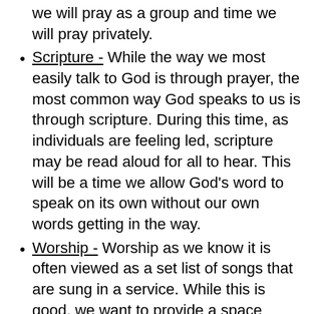we will pray as a group and time we will pray privately.
Scripture - While the way we most easily talk to God is through prayer, the most common way God speaks to us is through scripture. During this time, as individuals are feeling led, scripture may be read aloud for all to hear. This will be a time we allow God's word to speak on its own without our own words getting in the way.
Worship - Worship as we know it is often viewed as a set list of songs that are sung in a service. While this is good, we want to provide a space